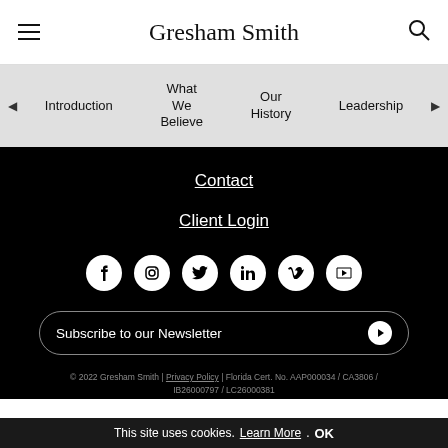Gresham Smith
Introduction
What We Believe
Our History
Leadership
Contact
Client Login
[Figure (infographic): Social media icons row: Facebook, Instagram, Twitter, LinkedIn, Vimeo, YouTube]
Subscribe to our Newsletter
© 2022 Gresham Smith | Privacy Policy | Florida Cert. No. AAP000034 / CA3806 / IB26000797 / LC26000381
This site uses cookies. Learn More. OK